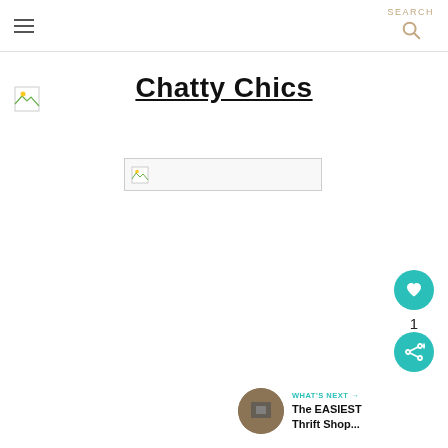SEARCH
Chatty Chics
[Figure (other): Broken image placeholder (logo)]
[Figure (other): Broken image placeholder (banner/header image)]
[Figure (other): Heart/like button (teal circle with heart icon) showing count 1]
[Figure (other): Share button (teal circle with share icon)]
[Figure (other): What's Next thumbnail and label: The EASIEST Thrift Shop...]